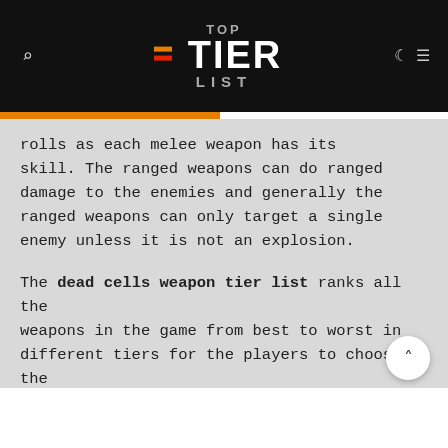[Figure (logo): Top Tier List logo with orange and red horizontal bars, white bold TIER text, gray TOP and LIST text, on black background]
rolls as each melee weapon has its skill. The ranged weapons can do ranged damage to the enemies and generally the ranged weapons can only target a single enemy unless it is not an explosion.
The dead cells weapon tier list ranks all the weapons in the game from best to worst in different tiers for the players to choose the best weapon for themselves.